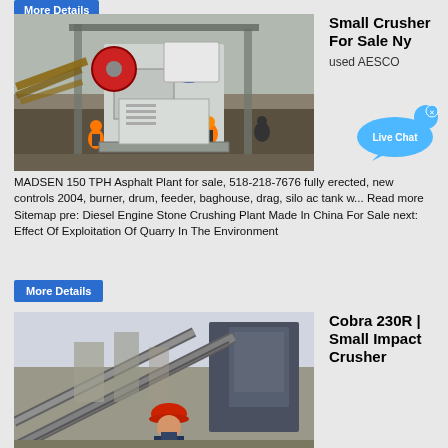More Details
[Figure (photo): Aerial view of a jaw crusher machine being installed at a construction/quarry site, with workers in orange safety vests and helmets]
Small Crusher For Sale Ny
used AESCO
[Figure (illustration): Live Chat button - blue speech bubble with 'Live Chat' text and an X close button]
MADSEN 150 TPH Asphalt Plant for sale, 518-218-7676 fully erected, new controls 2004, burner, drum, feeder, baghouse, drag, silo ac tank w... Read more Sitemap pre: Diesel Engine Stone Crushing Plant Made In China For Sale next: Effect Of Exploitation Of Quarry In The Environment
More Details
[Figure (photo): Construction site with conveyor belt and worker wearing red hard hat in foreground]
Cobra 230R | Small Impact Crusher